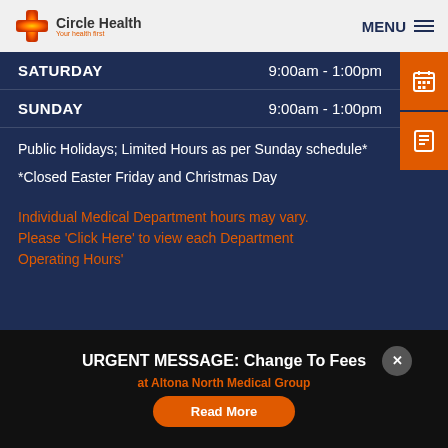Circle Health — Your health first | MENU
| Day | Hours |
| --- | --- |
| SATURDAY | 9:00am - 1:00pm |
| SUNDAY | 9:00am - 1:00pm |
Public Holidays; Limited Hours as per Sunday schedule*
*Closed Easter Friday and Christmas Day
Individual Medical Department hours may vary. Please 'Click Here' to view each Department Operating Hours'
URGENT MESSAGE: Change To Fees at Altona North Medical Group
Read More